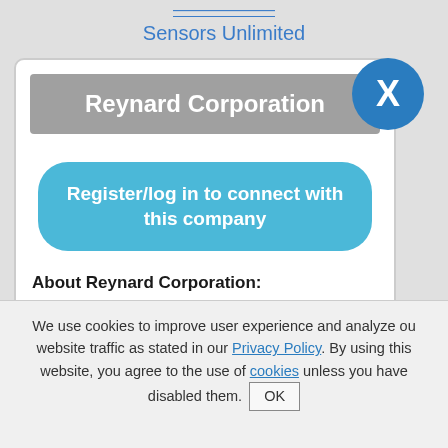Sensors Unlimited
Reynard Corporation
Register/log in to connect with this company
About Reynard Corporation:
Reynard Corporation manufactures custom optical components and thin-film coatings from 0.2 to 50 microns (UV to far-IR), in-
We use cookies to improve user experience and analyze our website traffic as stated in our Privacy Policy. By using this website, you agree to the use of cookies unless you have disabled them. OK